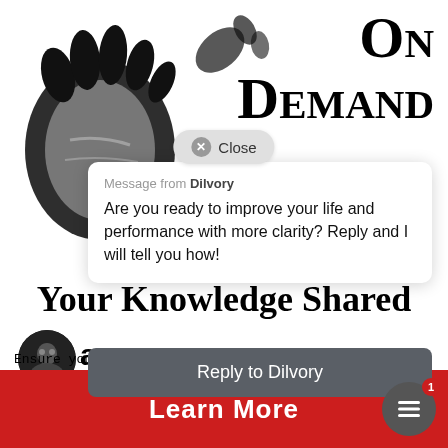[Figure (illustration): Black ink handprint stamp illustration in upper left area of page]
On Demand
Your Knowledge Shared
[Figure (photo): Profile photo of a man in dark clothing, circular crop]
are
Ensure you leave yourself with your child whenever they need you forever!
Close
Message from Dilvory
Are you ready to improve your life and performance with more clarity? Reply and I will tell you how!
Reply to Dilvory
Learn More
1